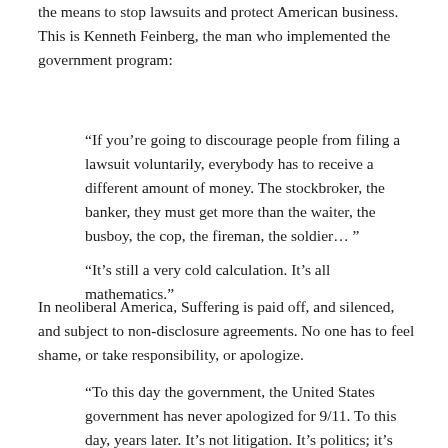the means to stop lawsuits and protect American business. This is Kenneth Feinberg, the man who implemented the government program:
“If you’re going to discourage people from filing a lawsuit voluntarily, everybody has to receive a different amount of money. The stockbroker, the banker, they must get more than the waiter, the busboy, the cop, the fireman, the soldier… ”
“It’s still a very cold calculation. It’s all mathematics.”
In neoliberal America, Suffering is paid off, and silenced, and subject to non-disclosure agreements. No one has to feel shame, or take responsibility, or apologize.
“To this day the government, the United States government has never apologized for 9/11. To this day, years later. It’s not litigation. It’s politics; it’s